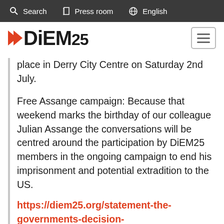Search | Press room | English
[Figure (logo): DiEM25 logo with two red arrows and bold text]
place in Derry City Centre on Saturday 2nd July.
Free Assange campaign: Because that weekend marks the birthday of our colleague Julian Assange the conversations will be centred around the participation by DiEM25 members in the ongoing campaign to end his imprisonment and potential extradition to the US.
https://diem25.org/statement-the-governments-decision-